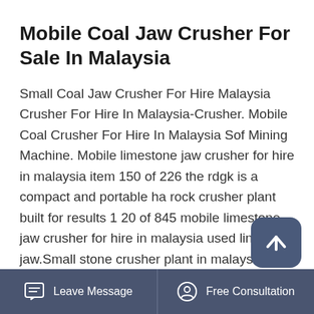Mobile Coal Jaw Crusher For Sale In Malaysia
Small Coal Jaw Crusher For Hire Malaysia Crusher For Hire In Malaysia-Crusher. Mobile Coal Crusher For Hire In Malaysia Sof Mining Machine. Mobile limestone jaw crusher for hire in malaysia items 150 of 226 the rdgk is a compact and portable hard rock crusher plant built for results 1 20 of 845 mobile limestone jaw crusher for hire in malaysia used line jaw.Small stone crusher plant in malaysia cryogenic ball mill malaysia gold mining and quarrying in malaysia for sale rock crushing equipment malaysia grinder malaysia price crusher for sale in malaysia
Leave Message   Free Consultation